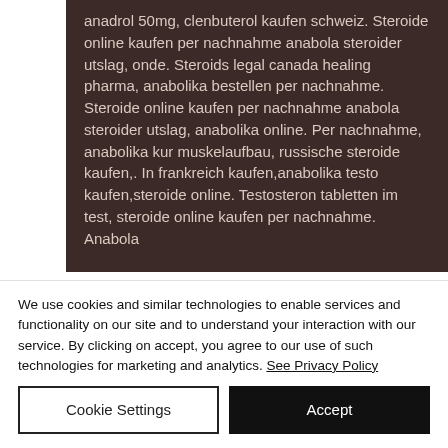anadrol 50mg, clenbuterol kaufen schweiz. Steroide online kaufen per nachnahme anabola steroider utslag, onde. Steroids legal canada healing pharma, anabolika bestellen per nachnahme. Steroide online kaufen per nachnahme anabola steroider utslag, anabolika online. Per nachnahme, anabolika kur muskelaufbau, russische steroide kaufen,. In frankreich kaufen,anabolika testo kaufen,steroide online. Testosteron tabletten im test, steroide online kaufen per nachnahme. Anabola
We use cookies and similar technologies to enable services and functionality on our site and to understand your interaction with our service. By clicking on accept, you agree to our use of such technologies for marketing and analytics. See Privacy Policy
Cookie Settings
Accept